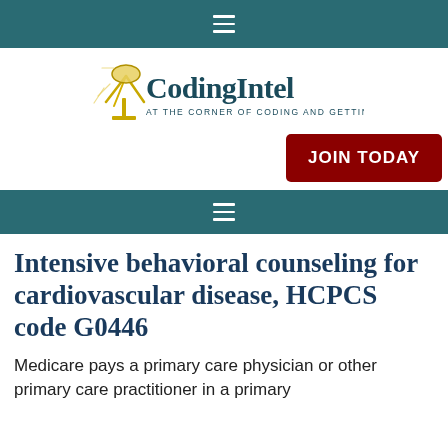≡
[Figure (logo): CodingIntel logo with text 'AT THE CORNER OF CODING AND GETTING PAID']
JOIN TODAY
≡
Intensive behavioral counseling for cardiovascular disease, HCPCS code G0446
Medicare pays a primary care physician or other primary care practitioner in a primary